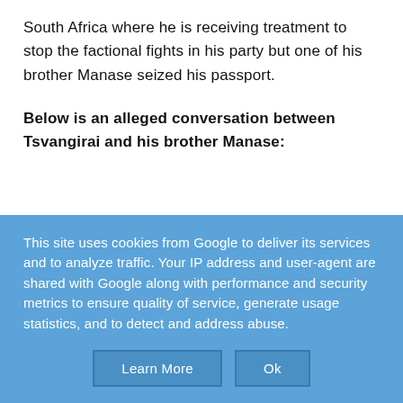South Africa where he is receiving treatment to stop the factional fights in his party but one of his brother Manase seized his passport.
Below is an alleged conversation between Tsvangirai and his brother Manase:
This site uses cookies from Google to deliver its services and to analyze traffic. Your IP address and user-agent are shared with Google along with performance and security metrics to ensure quality of service, generate usage statistics, and to detect and address abuse.
Learn More   Ok